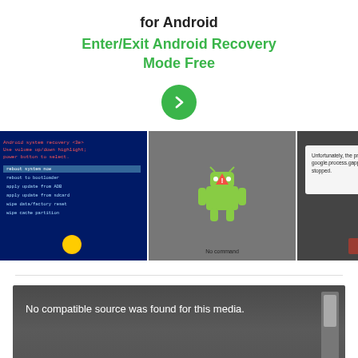for Android
Enter/Exit Android Recovery Mode Free
[Figure (screenshot): Green circle with right-pointing arrow chevron button]
[Figure (screenshot): Strip of four images: Android recovery mode screen (blue/red text), Android robot error icon with no command, Google process gapps stopped error dialog, hand holding phone with virus cells]
[Figure (screenshot): Video player showing error message 'No compatible source was found for this media.' with italic text overlay starting with 'I have encountered this error of' and a cursive style 'I have encountered this error of' with a play button arrow and scrollbar]